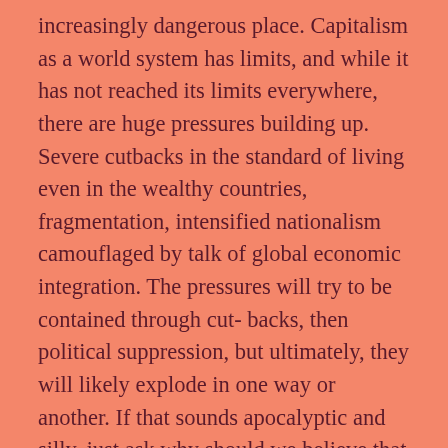increasingly dangerous place. Capitalism as a world system has limits, and while it has not reached its limits everywhere, there are huge pressures building up. Severe cutbacks in the standard of living even in the wealthy countries, fragmentation, intensified nationalism camouflaged by talk of global economic integration. The pressures will try to be contained through cut- backs, then political suppression, but ultimately, they will likely explode in one way or another. If that sounds apocalyptic and silly, just ask why should we believe that after hundreds of generations, this generation will be the one that sees the start of eternal peace here on Earth. The youth of today will face a much more difficult world than my